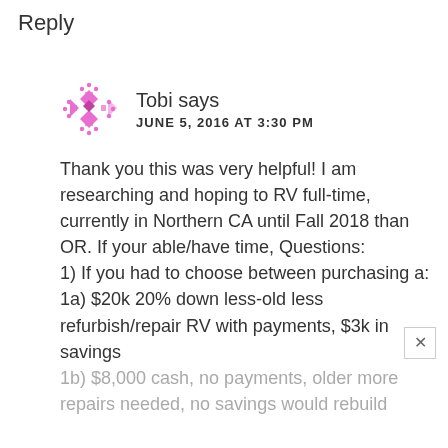Reply
[Figure (illustration): Pink pixel art / geometric avatar icon for user Tobi]
Tobi says
JUNE 5, 2016 AT 3:30 PM
Thank you this was very helpful! I am researching and hoping to RV full-time, currently in Northern CA until Fall 2018 than OR. If your able/have time, Questions:
1) If you had to choose between purchasing a:
1a) $20k 20% down less-old less refurbish/repair RV with payments, $3k in savings
1b) $8,000 cash, no payments, older more repairs needed, no savings would rebuild